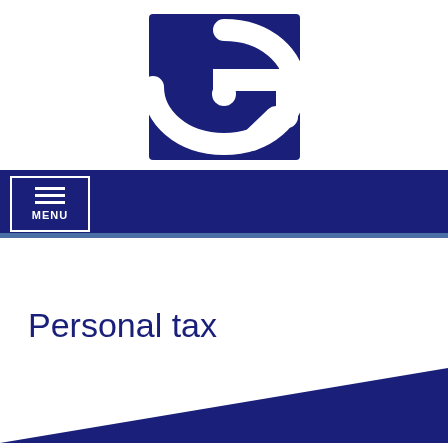[Figure (logo): Government/organization logo: dark navy blue square with white stylized G letter design]
[Figure (screenshot): Navigation bar with MENU button on dark navy background]
Personal tax